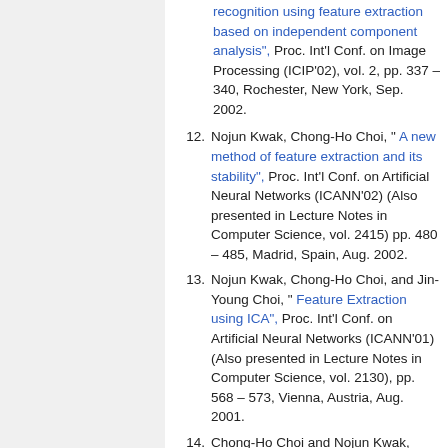recognition using feature extraction based on independent component analysis", Proc. Int'l Conf. on Image Processing (ICIP'02), vol. 2, pp. 337 – 340, Rochester, New York, Sep. 2002.
12. Nojun Kwak, Chong-Ho Choi, " A new method of feature extraction and its stability", Proc. Int'l Conf. on Artificial Neural Networks (ICANN'02) (Also presented in Lecture Notes in Computer Science, vol. 2415) pp. 480 – 485, Madrid, Spain, Aug. 2002.
13. Nojun Kwak, Chong-Ho Choi, and Jin-Young Choi, " Feature Extraction using ICA", Proc. Int'l Conf. on Artificial Neural Networks (ICANN'01) (Also presented in Lecture Notes in Computer Science, vol. 2130), pp. 568 – 573, Vienna, Austria, Aug. 2001.
14. Chong-Ho Choi and Nojun Kwak,